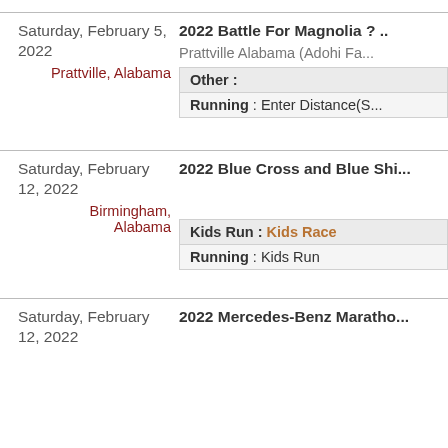Saturday, February 5, 2022 | Prattville, Alabama | 2022 Battle For Magnolia ? .. | Prattville Alabama (Adohi Fa... | Other : | Running : Enter Distance(S...
Saturday, February 12, 2022 | Birmingham, Alabama | 2022 Blue Cross and Blue Shi... | Kids Run : Kids Race | Running : Kids Run
Saturday, February 12, 2022 | 2022 Mercedes-Benz Maratho...